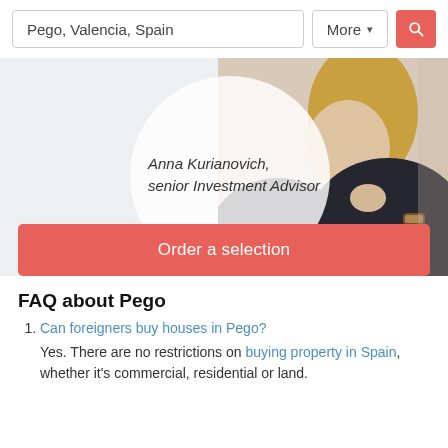[Figure (screenshot): Search bar with text input showing 'Pego, Valencia, Spain', a 'More' dropdown button, and a red search icon button]
[Figure (photo): Banner section showing Anna Kurianovich, senior Investment Advisor, with a photo of a woman in a dark top and a white circle overlay containing her name and title, and a red 'Order a selection' button at the bottom]
FAQ about Pego
Can foreigners buy houses in Pego?
Yes. There are no restrictions on buying property in Spain, whether it's commercial, residential or land.